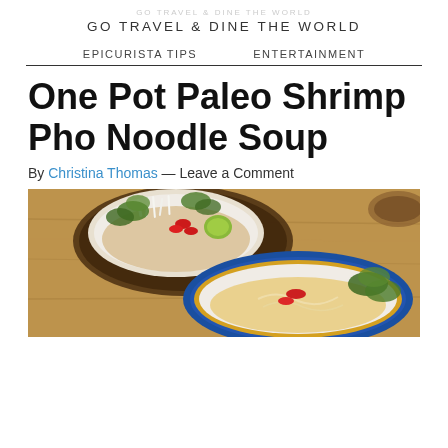GO TRAVEL & DINE THE WORLD
EPICURISTA TIPS   ENTERTAINMENT
One Pot Paleo Shrimp Pho Noodle Soup
By Christina Thomas — Leave a Comment
[Figure (photo): Overhead photo of two bowls of shrimp pho noodle soup with herbs, bean sprouts, lime, and red chilies on a wooden surface]